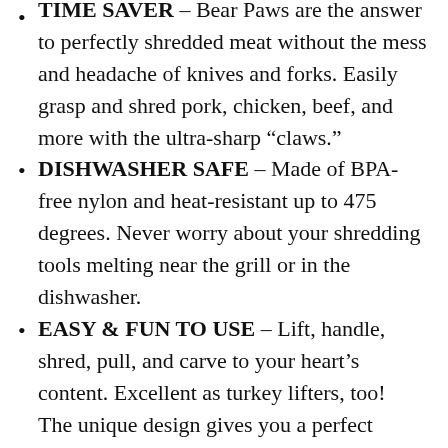TIME SAVER – Bear Paws are the answer to perfectly shredded meat without the mess and headache of knives and forks. Easily grasp and shred pork, chicken, beef, and more with the ultra-sharp “claws.”
DISHWASHER SAFE – Made of BPA-free nylon and heat-resistant up to 475 degrees. Never worry about your shredding tools melting near the grill or in the dishwasher.
EASY & FUN TO USE – Lift, handle, shred, pull, and carve to your heart’s content. Excellent as turkey lifters, too!  The unique design gives you a perfect handhold for safely managing the super-sharp shredding blades